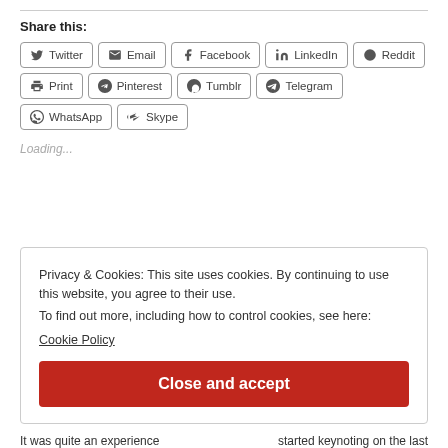Share this:
Twitter | Email | Facebook | LinkedIn | Reddit | Print | Pinterest | Tumblr | Telegram | WhatsApp | Skype
Loading...
Privacy & Cookies: This site uses cookies. By continuing to use this website, you agree to their use.
To find out more, including how to control cookies, see here:
Cookie Policy
Close and accept
It was quite an experience        started keynoting on the last